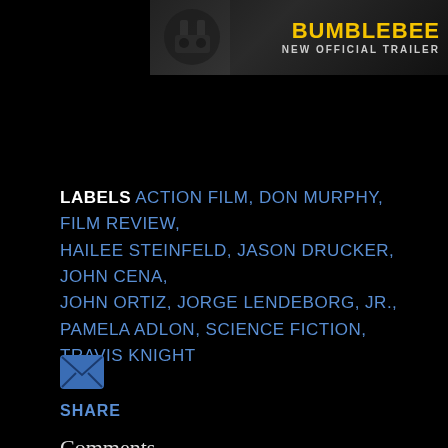[Figure (screenshot): Partial Bumblebee movie trailer thumbnail with yellow title text 'BUMBLEBEE' and subtitle 'NEW OFFICIAL TRAILER' on dark background]
LABELS ACTION FILM, DON MURPHY, FILM REVIEW, HAILEE STEINFELD, JASON DRUCKER, JOHN CENA, JOHN ORTIZ, JORGE LENDEBORG, JR., PAMELA ADLON, SCIENCE FICTION, TRAVIS KNIGHT
[Figure (illustration): Blue email/envelope icon]
SHARE
Comments